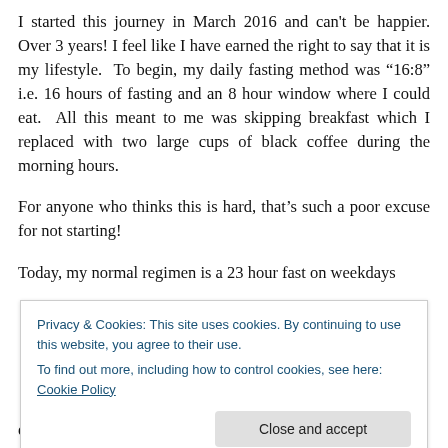I started this journey in March 2016 and can't be happier. Over 3 years! I feel like I have earned the right to say that it is my lifestyle.  To begin, my daily fasting method was "16:8" i.e. 16 hours of fasting and an 8 hour window where I could eat.  All this meant to me was skipping breakfast which I replaced with two large cups of black coffee during the morning hours.
For anyone who thinks this is hard, that's such a poor excuse for not starting!
Today, my normal regimen is a 23 hour fast on weekdays
Privacy & Cookies: This site uses cookies. By continuing to use this website, you agree to their use.
To find out more, including how to control cookies, see here: Cookie Policy
experience it. I feel like I am eating for the entire hour! Like